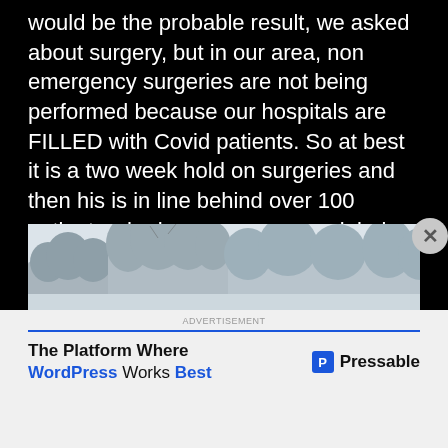would be the probable result, we asked about surgery, but in our area, non emergency surgeries are not being performed because our hospitals are FILLED with Covid patients. So at best it is a two week hold on surgeries and then his is in line behind over 100 patients who have more severe injuries. This is Dave with his dock. Proud even injured.
[Figure (photo): Outdoor winter photo showing bare trees with snow or frost against a light sky, partially visible at bottom of black section]
The Platform Where WordPress Works Best — Pressable (advertisement)